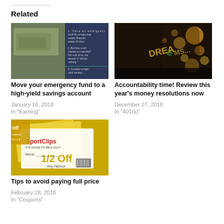Related
[Figure (photo): Photo of dollar bills and financial tips text on dark blue background]
Move your emergency fund to a high-yield savings account
January 16, 2018
In "Earning"
[Figure (photo): Photo of glowing fairy lights in a jar with DREAMS text]
Accountability time! Review this year’s money resolutions now
December 27, 2018
In "401(k)"
[Figure (photo): Photo of SportClips half off coupons on yellow background]
Tips to avoid paying full price
February 28, 2018
In "Coupons"